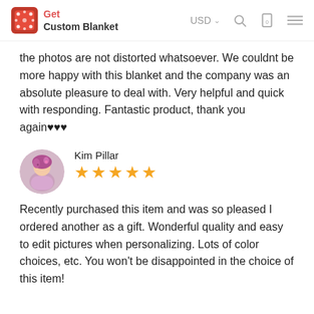Get Custom Blanket | USD
the photos are not distorted whatsoever. We couldnt be more happy with this blanket and the company was an absolute pleasure to deal with. Very helpful and quick with responding. Fantastic product, thank you again♥♥♥
Kim Pillar
[Figure (other): 5 gold star rating]
Recently purchased this item and was so pleased I ordered another as a gift. Wonderful quality and easy to edit pictures when personalizing. Lots of color choices, etc. You won't be disappointed in the choice of this item!